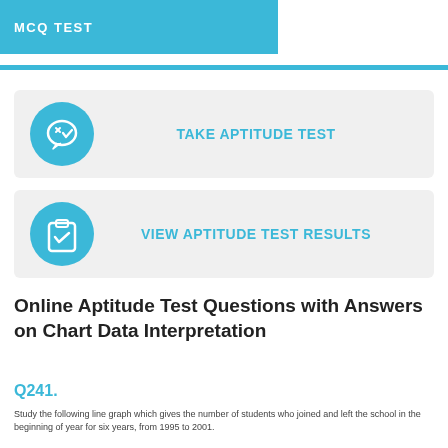MCQ TEST
[Figure (infographic): Button card with quiz/aptitude icon and text TAKE APTITUDE TEST]
[Figure (infographic): Button card with clipboard/results icon and text VIEW APTITUDE TEST RESULTS]
Online Aptitude Test Questions with Answers on Chart Data Interpretation
Q241.
Study the following line graph which gives the number of students who joined and left the school in the beginning of year for six years, from 1995 to 2001.